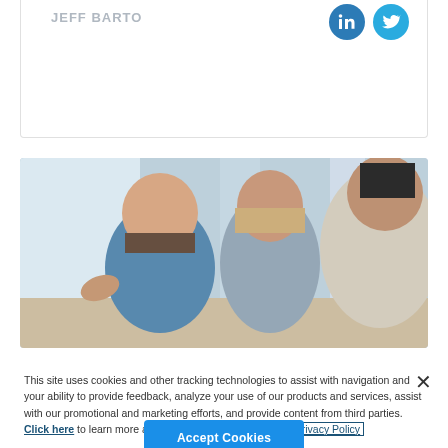JEFF BARTO
[Figure (photo): Three people looking at something together in an office-like setting with windows in the background. A bearded man in a blue shirt points at something, a woman with blonde hair looks on, and a man in a light jacket looks at the screen.]
This site uses cookies and other tracking technologies to assist with navigation and your ability to provide feedback, analyze your use of our products and services, assist with our promotional and marketing efforts, and provide content from third parties.  Click here to learn more and manage your preferences.  Privacy Policy
Accept Cookies